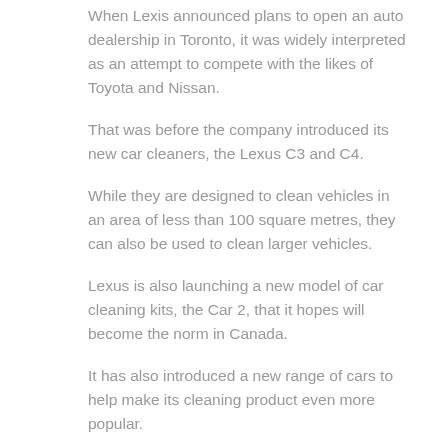When Lexis announced plans to open an auto dealership in Toronto, it was widely interpreted as an attempt to compete with the likes of Toyota and Nissan.
That was before the company introduced its new car cleaners, the Lexus C3 and C4.
While they are designed to clean vehicles in an area of less than 100 square metres, they can also be used to clean larger vehicles.
Lexus is also launching a new model of car cleaning kits, the Car 2, that it hopes will become the norm in Canada.
It has also introduced a new range of cars to help make its cleaning product even more popular.
Now, in an effort to woo Canadians who buy cars in Canada, the company is releasing a set